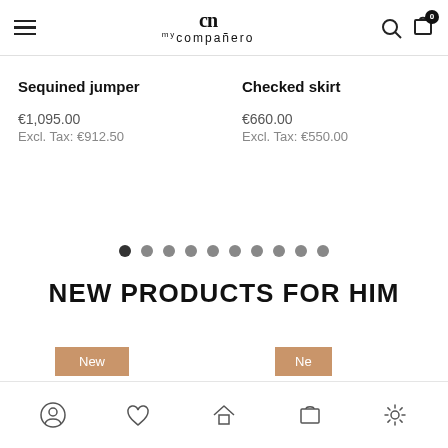my compañero — navigation header with logo, search, and cart
Sequined jumper
€1,095.00
Excl. Tax: €912.50
Checked skirt
€660.00
Excl. Tax: €550.00
[Figure (other): Carousel pagination dots — 10 dots, first one darker (active)]
NEW PRODUCTS FOR HIM
[Figure (other): Product cards with 'New' badges in tan/brown color]
Bottom navigation bar with account, home, cart, and settings icons